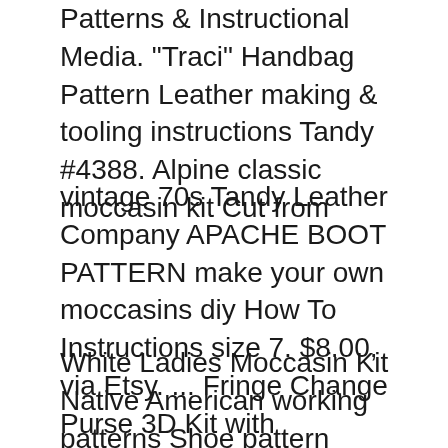Patterns & Instructional Media. "Traci" Handbag Pattern Leather making & tooling instructions Tandy #4388. Alpine classic moccasin kit Cut from
vintage 70s Tandy Leather Company APACHE BOOT PATTERN make your own moccasins diy How To Instructions size 7. $8.00, via Etsy. ... Fringe Change Purse 3D Kit with Instructions Little Scout Moc Moccasin Kit - Youth sz 2/3 Tandy Leather 4602 Tandy Leather Factory Quick Kit Pre
White Ladies Moccasin Kit Native American working patterns Shoe pattern Tandy leather Native American Beading Shoes Belts Moccasin pattern